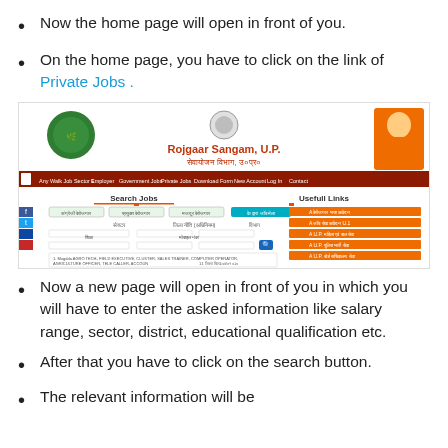Now the home page will open in front of you.
On the home page, you have to click on the link of Private Jobs .
[Figure (screenshot): Screenshot of Rojgaar Sangam U.P. website showing job search interface with navigation menu, Search Jobs section, and Usefull Links section in Hindi and English.]
Now a new page will open in front of you in which you will have to enter the asked information like salary range, sector, district, educational qualification etc.
After that you have to click on the search button.
The relevant information will be...